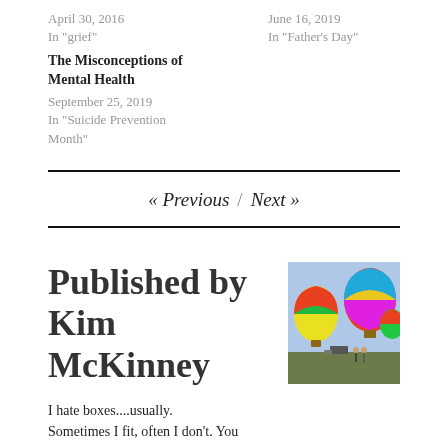April 30, 2016
In "grief"
June 16, 2019
In "Father's Day"
The Misconceptions of Mental Health
September 25, 2019
In "Suicide Prevention Month"
« Previous / Next »
Published by Kim McKinney
[Figure (photo): Colorful hot air balloons on a field with people and a vehicle nearby]
I hate boxes....usually. Sometimes I fit, often I don't. You